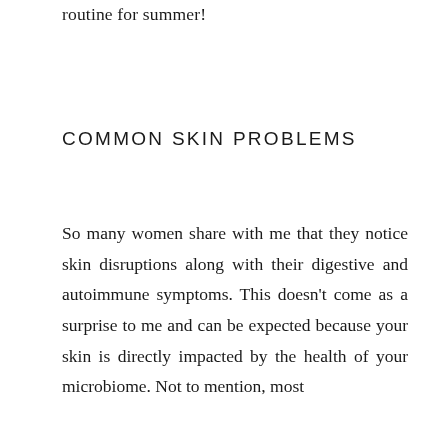routine for summer!
COMMON SKIN PROBLEMS
So many women share with me that they notice skin disruptions along with their digestive and autoimmune symptoms. This doesn't come as a surprise to me and can be expected because your skin is directly impacted by the health of your microbiome. Not to mention, most